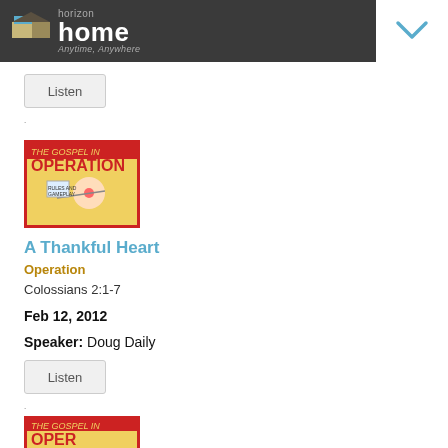[Figure (logo): Horizon Home logo with teal and tan house icon, text 'horizon home Anytime, Anywhere' on dark gray header bar with chevron/dropdown on right]
[Figure (screenshot): Listen button - gray rounded rectangle button]
[Figure (illustration): The Gospel in Operation board game artwork - cartoon character with red nose on yellow background with red border]
A Thankful Heart
Operation
Colossians 2:1-7
Feb 12, 2012
Speaker: Doug Daily
[Figure (screenshot): Listen button - gray rounded rectangle button]
[Figure (illustration): Partial view of The Gospel in Operation board game artwork at bottom of page]